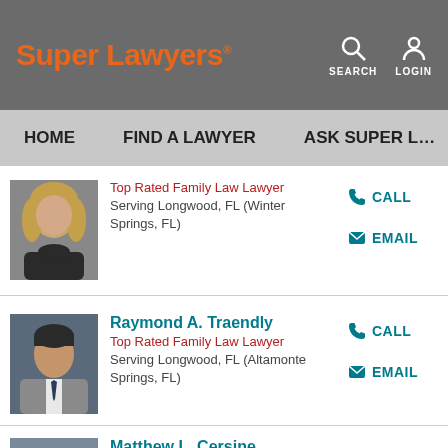Super Lawyers — SEARCH LOGIN — HOME | FIND A LAWYER | ASK SUPER L…
[Figure (photo): Profile photo of a woman with blonde hair wearing a dark top]
Top Rated Family Law Lawyer
Serving Longwood, FL (Winter Springs, FL)
CALL
EMAIL
[Figure (photo): Profile photo of Raymond A. Traendly, a man in a grey suit with a dark tie]
Raymond A. Traendly
Top Rated Family Law Lawyer
Serving Longwood, FL (Altamonte Springs, FL)
CALL
EMAIL
[Figure (photo): Partial profile photo of Matthew L. Cersine]
Matthew L. Cersine